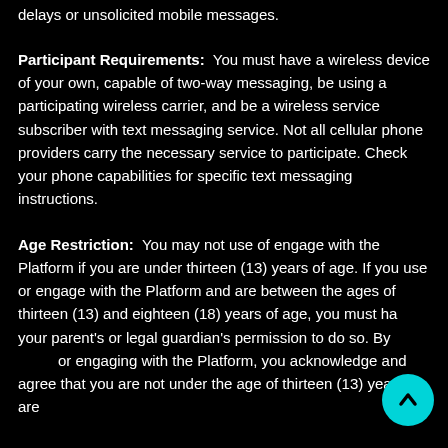delays or unsolicited mobile messages.
Participant Requirements: You must have a wireless device of your own, capable of two-way messaging, be using a participating wireless carrier, and be a wireless service subscriber with text messaging service. Not all cellular phone providers carry the necessary service to participate. Check your phone capabilities for specific text messaging instructions.
Age Restriction: You may not use of engage with the Platform if you are under thirteen (13) years of age. If you use or engage with the Platform and are between the ages of thirteen (13) and eighteen (18) years of age, you must have your parent's or legal guardian's permission to do so. By using or engaging with the Platform, you acknowledge and agree that you are not under the age of thirteen (13) years, are